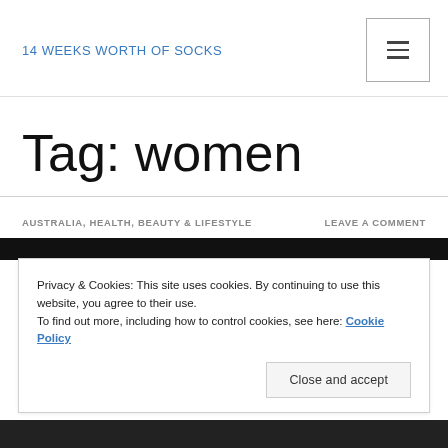14 WEEKS WORTH OF SOCKS
Tag: women
AUSTRALIA, HEALTH, BEAUTY & LIFESTYLE     LEAVE A COMMENT
Privacy & Cookies: This site uses cookies. By continuing to use this website, you agree to their use.
To find out more, including how to control cookies, see here: Cookie Policy
Close and accept